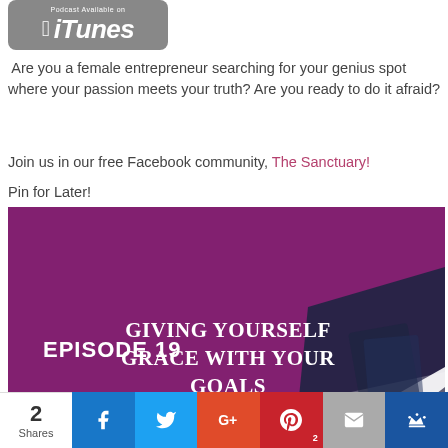[Figure (logo): Podcast Available on iTunes badge with Apple logo]
Are you a female entrepreneur searching for your genius spot where your passion meets your truth? Are you ready to do it afraid?
Join us in our free Facebook community, The Sanctuary!
Pin for Later!
[Figure (illustration): Podcast episode image with purple diagonal band reading EPISODE 19 GIVING YOURSELF GRACE WITH YOUR GOALS on a blurred background with notebooks]
[Figure (infographic): Social share bar with 2 Shares count and buttons for Facebook, Twitter, Google+, Pinterest (2), Email, and crown/bookmark icon]